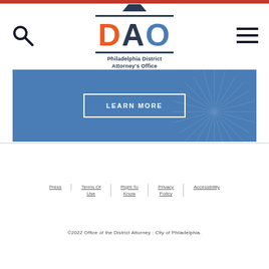[Figure (logo): Philadelphia District Attorney's Office (DAO) logo with search icon and hamburger menu]
[Figure (other): Blue banner with LEARN MORE button and starburst decoration]
Press | Terms Of Use | Right To Know | Privacy Policy | Accessibility
©2022 Office of the District Attorney : City of Philadelphia.